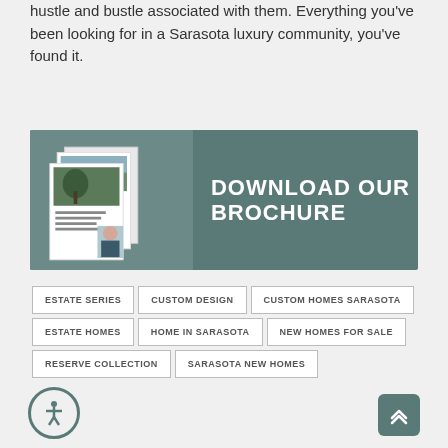hustle and bustle associated with them.  Everything you've been looking for in a Sarasota luxury community, you've found it.
[Figure (other): Download Our Brochure banner with mockup brochure images on the left and bold white text 'DOWNLOAD OUR BROCHURE' on the right, on a dark teal background]
ESTATE SERIES
CUSTOM DESIGN
CUSTOM HOMES SARASOTA
ESTATE HOMES
HOME IN SARASOTA
NEW HOMES FOR SALE
RESERVE COLLECTION
SARASOTA NEW HOMES
THE FOUNDERS CLUB
THE FOUNDERS CLUB COMMUNITY
HOMES